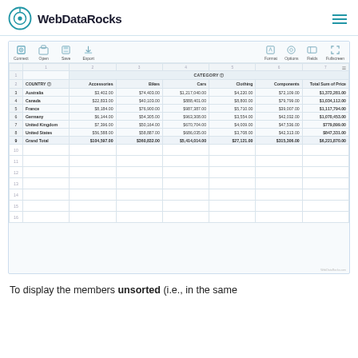WebDataRocks
[Figure (screenshot): Screenshot of WebDataRocks pivot table showing sales data by Country and Category (Accessories, Bikes, Cars, Clothing, Components) with a Grand Total column. Rows include Australia, Canada, France, Germany, United Kingdom, United States, and Grand Total.]
|  | COUNTRY | Accessories | Bikes | Cars | Clothing | Components | Total Sum of Price |
| --- | --- | --- | --- | --- | --- | --- | --- |
| 3 | Australia | $3,402.00 | $74,403.00 | $1,217,040.00 | $4,220.00 | $72,109.00 | $1,372,281.00 |
| 4 | Canada | $22,833.00 | $40,103.00 | $888,401.00 | $8,800.00 | $79,799.00 | $1,034,112.00 |
| 5 | France | $8,184.00 | $76,900.00 | $987,387.00 | $5,710.00 | $39,007.00 | $1,117,794.00 |
| 6 | Germany | $6,144.00 | $54,305.00 | $963,308.00 | $3,554.00 | $42,032.00 | $1,070,453.00 |
| 7 | United Kingdom | $7,396.00 | $50,164.00 | $670,704.00 | $4,009.00 | $47,536.00 | $779,899.00 |
| 8 | United States | $56,588.00 | $58,887.00 | $686,035.00 | $3,708.00 | $42,313.00 | $847,331.00 |
| 9 | Grand Total | $104,597.00 | $360,832.00 | $5,414,014.00 | $27,121.00 | $315,306.00 | $6,221,870.00 |
To display the members unsorted (i.e., in the same